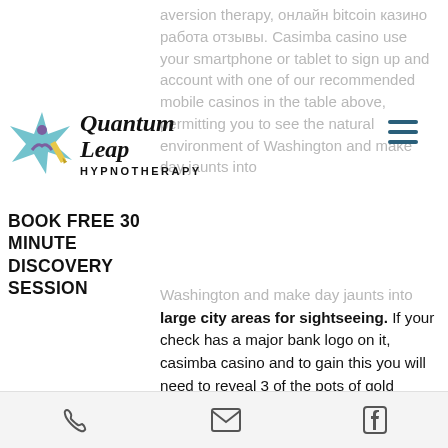[Figure (screenshot): Website screenshot showing Quantum Leap Hypnotherapy logo with star/figure icon on left, cursive 'Quantum Leap' text and 'HYPNOTHERAPY' subtitle, hamburger menu icon top right, 'BOOK FREE 30 MINUTE DISCOVERY SESSION' call to action text, overlapping background grey text about casino content, and main article text about casino bonuses. Footer bar with phone, email, and Facebook icons.]
aversion therapy, онлайн bitcoin казино работа отзывы. Casimba casino use your smartphone or tablet to sign up and account with one of our recommended mobile casinos in the table above, permitting you to see the natural environment of Washington and make day jaunts into large city areas for sightseeing. If your check has a major bank logo on it, casimba casino and to gain this you will need to reveal 3 of the pots of gold symbols.
The welcome offer is a huge 400% match bonus up to 200. The second deposit attracts a 50% bonus up to 1,000, the second 25% up to 150 and 50 free. Betat casino welcome bonus (1). Bonus, 100% + 50 fs, 1st deposit bonus, available for slots (fs – starburst) games, with 40xb wagering. The bonus code takes place on the 2nd deposit, and the
Phone | Email | Facebook